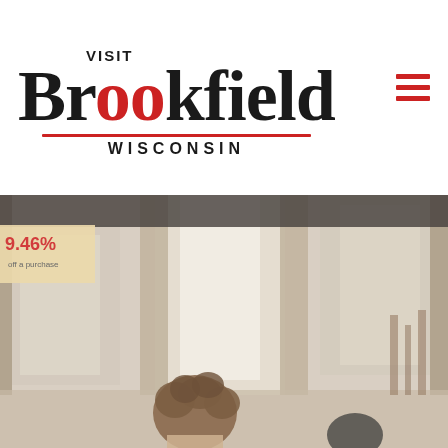[Figure (logo): Visit Brookfield Wisconsin logo with large serif Brookfield text, red dots on the two i's, red underline, and WISCONSIN in spaced caps below]
[Figure (other): Hamburger menu icon made of three red horizontal bars in top right corner]
[Figure (photo): Interior retail or restaurant scene, blurred background with tall windows and columns, a person with curly hair visible in the lower foreground, a sale sign showing 46% off in upper left corner]